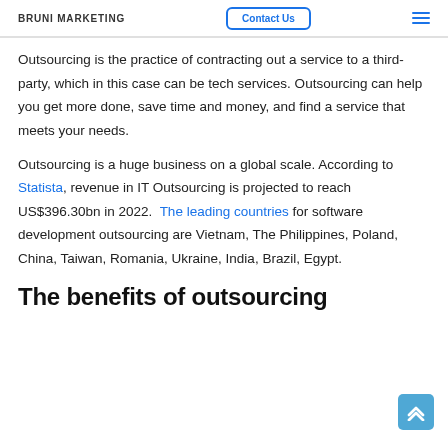BRUNI MARKETING | Contact Us | ≡
Outsourcing is the practice of contracting out a service to a third-party, which in this case can be tech services. Outsourcing can help you get more done, save time and money, and find a service that meets your needs.
Outsourcing is a huge business on a global scale. According to Statista, revenue in IT Outsourcing is projected to reach US$396.30bn in 2022. The leading countries for software development outsourcing are Vietnam, The Philippines, Poland, China, Taiwan, Romania, Ukraine, India, Brazil, Egypt.
The benefits of outsourcing